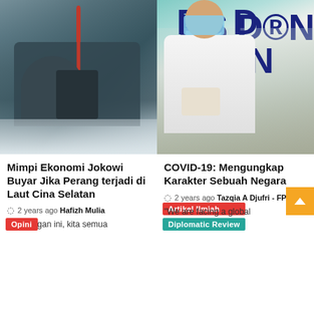[Figure (photo): Fighter jet cockpit close-up with red antenna/probe visible, grey tones]
[Figure (photo): Person wearing mask and gloves standing in front of COVID-19 / RS Darurat Penanganan COVID signage in dark blue letters on light background]
Opini
Artikel Ilmiah
Diplomatic Review
Mimpi Ekonomi Jokowi Buyar Jika Perang terjadi di Laut Cina Selatan
COVID-19: Mengungkap Karakter Sebuah Negara
2 years ago  Hafizh Mulia
2 years ago  Tazqia A Djufri - FPCI UI
Belakangan ini, kita semua
"We are facing a global